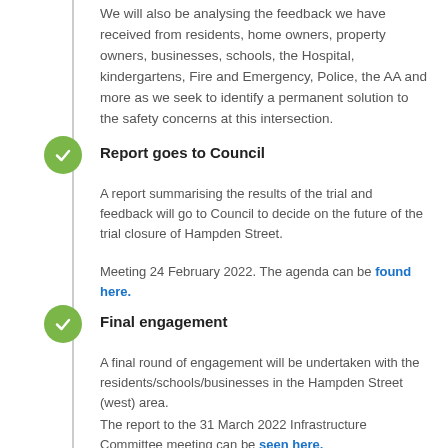We will also be analysing the feedback we have received from residents, home owners, property owners, businesses, schools, the Hospital, kindergartens, Fire and Emergency, Police, the AA and more as we seek to identify a permanent solution to the safety concerns at this intersection.
Report goes to Council
A report summarising the results of the trial and feedback will go to Council to decide on the future of the trial closure of Hampden Street.
Meeting 24 February 2022. The agenda can be found here.
Final engagement
A final round of engagement will be undertaken with the residents/schools/businesses in the Hampden Street (west) area.
The report to the 31 March 2022 Infrastructure Committee meeting can be seen here.